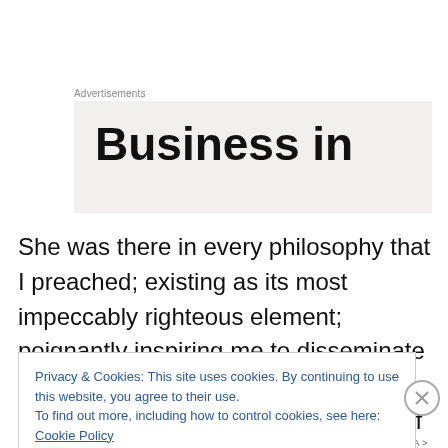Advertisements
Business in
She was there in every philosophy that I preached; existing as its most impeccably righteous element; poignantly inspiring me to disseminate the impregnable essence of affable brotherhood; to the remotest corner of this boundless Universe,
Privacy & Cookies: This site uses cookies. By continuing to use this website, you agree to their use.
To find out more, including how to control cookies, see here: Cookie Policy
Close and accept